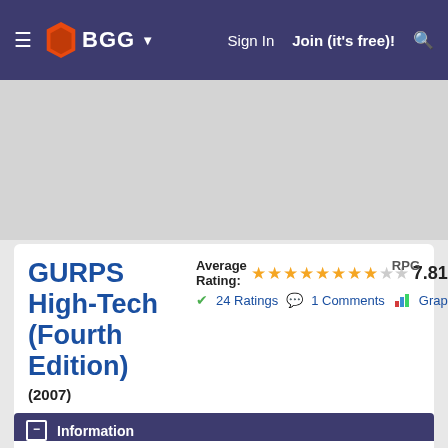BGG — Sign In | Join (it's free)!
GURPS High-Tech (Fourth Edition) (2007)
Average Rating: 7.81/10  24 Ratings  1 Comments  Graph
Jump To: Entry | Info | Versions | Desc | More Info | Marketplace | Images | Video | Files | Linked Items | GeekLists | Stats | Tags | Web Links | User Info
Information
RPG  GURPS (4th Edition)  Fans: 0  Become a Fan
Genre  Generic /